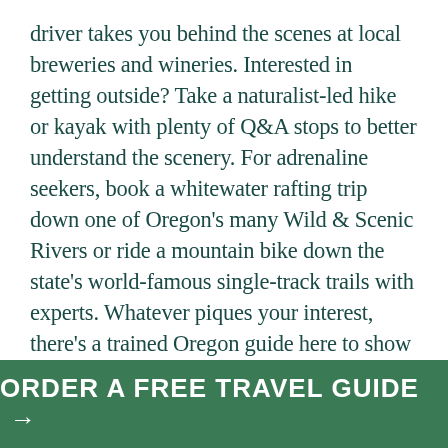driver takes you behind the scenes at local breweries and wineries. Interested in getting outside? Take a naturalist-led hike or kayak with plenty of Q&A stops to better understand the scenery. For adrenaline seekers, book a whitewater rafting trip down one of Oregon's many Wild & Scenic Rivers or ride a mountain bike down the state's world-famous single-track trails with experts. Whatever piques your interest, there's a trained Oregon guide here to show you the ropes. Check out these featured Oregon guides and outfitters ready to help you make new memories:
ORDER A FREE TRAVEL GUIDE →